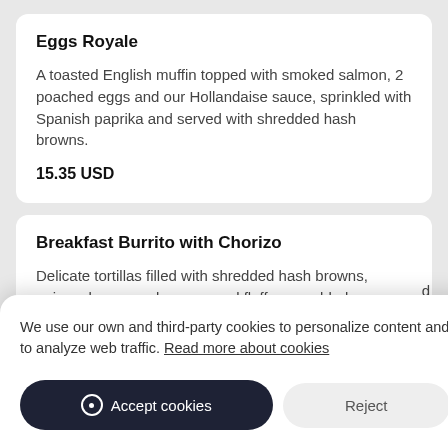Eggs Royale
A toasted English muffin topped with smoked salmon, 2 poached eggs and our Hollandaise sauce, sprinkled with Spanish paprika and served with shredded hash browns.
15.35 USD
Breakfast Burrito with Chorizo
Delicate tortillas filled with shredded hash browns, onions, bacon, red pepper and fluffy scrambled eggs. Add OPH
We use our own and third-party cookies to personalize content and to analyze web traffic. Read more about cookies
Three Cheese Blit...